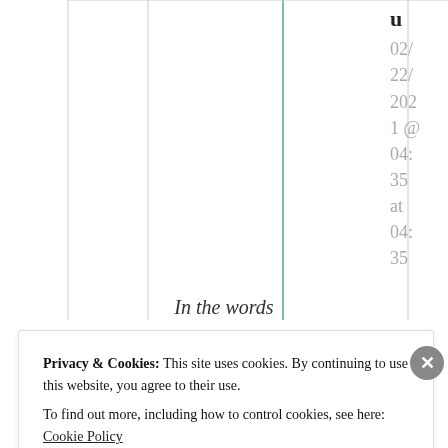u 02/ 22/ 2021 @ 04: 35 at 04: 35
In the words
Privacy & Cookies: This site uses cookies. By continuing to use this website, you agree to their use. To find out more, including how to control cookies, see here: Cookie Policy
Close and accept